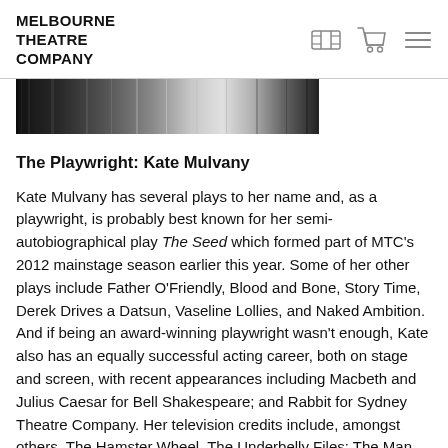MELBOURNE THEATRE COMPANY
[Figure (photo): Black and white close-up photo strip, cropped at top of page]
The Playwright: Kate Mulvany
Kate Mulvany has several plays to her name and, as a playwright, is probably best known for her semi-autobiographical play The Seed which formed part of MTC's 2012 mainstage season earlier this year. Some of her other plays include Father O'Friendly, Blood and Bone, Story Time, Derek Drives a Datsun, Vaseline Lollies, and Naked Ambition. And if being an award-winning playwright wasn't enough, Kate also has an equally successful acting career, both on stage and screen, with recent appearances including Macbeth and Julius Caesar for Bell Shakespeare; and Rabbit for Sydney Theatre Company. Her television credits include, amongst others, The Hamster Wheel, The Underbelly Files: The Man Who Got Away,